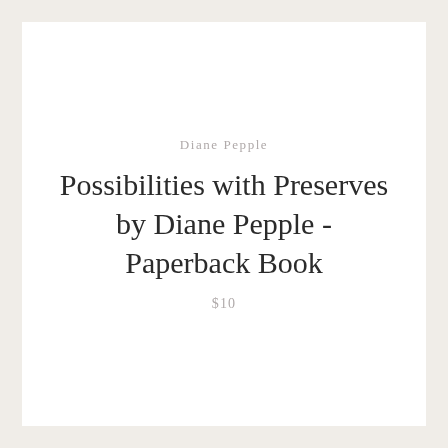Diane Pepple
Possibilities with Preserves by Diane Pepple - Paperback Book
$10